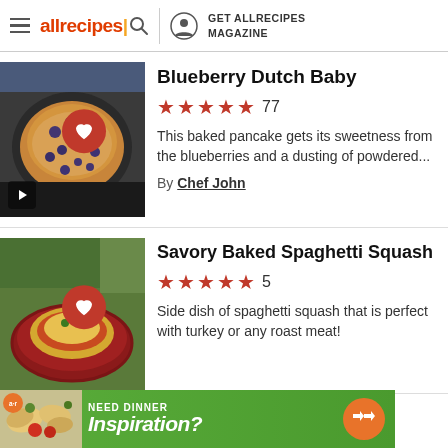allrecipes | GET ALLRECIPES MAGAZINE
Blueberry Dutch Baby
★★★★★ 77
This baked pancake gets its sweetness from the blueberries and a dusting of powdered...
By Chef John
Savory Baked Spaghetti Squash
★★★★★ 5
Side dish of spaghetti squash that is perfect with turkey or any roast meat!
[Figure (photo): Blueberry Dutch Baby pancake in a cast iron skillet]
[Figure (photo): Savory Baked Spaghetti Squash in a red baking dish]
[Figure (screenshot): Ad banner: Need Dinner Inspiration? with pasta photo and arrow button]